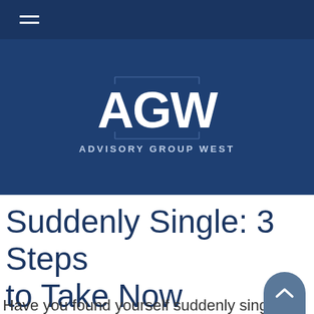[Figure (logo): AGW Advisory Group West logo — white bold letters AGW above the text ADVISORY GROUP WEST, with a light blue rectangular frame graphic, all on a dark navy blue background]
Suddenly Single: 3 Steps to Take Now
Have you found yourself suddenly single?